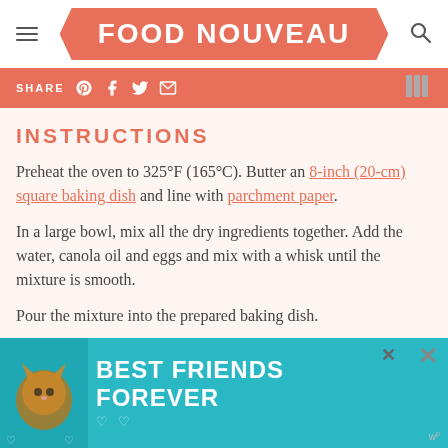FOOD NOUVEAU
SHARE
INSTRUCTIONS
Preheat the oven to 325°F (165°C). Butter an 8-inch (20-cm) square baking dish and line with parchment paper.
In a large bowl, mix all the dry ingredients together. Add the water, canola oil and eggs and mix with a whisk until the mixture is smooth.
Pour the mixture into the prepared baking dish.
[Figure (photo): Advertisement banner with a cat photo and text BEST FRIENDS FOREVER on teal background]